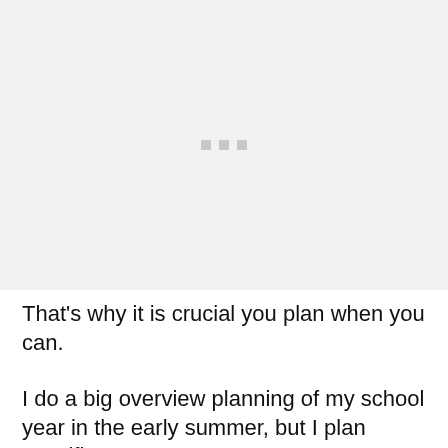[Figure (other): Gray placeholder image area with three small gray squares centered]
That's why it is crucial you plan when you can.
I do a big overview planning of my school year in the early summer, but I plan specifics every